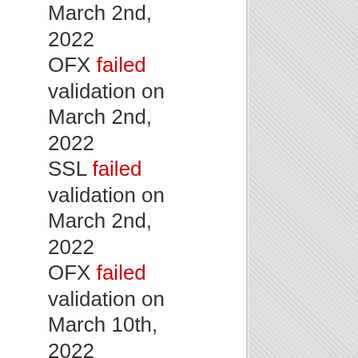March 2nd, 2022
OFX failed validation on March 2nd, 2022
SSL failed validation on March 2nd, 2022
OFX failed validation on March 10th, 2022
OFX failed validation on March 12th, 2022
OFX failed